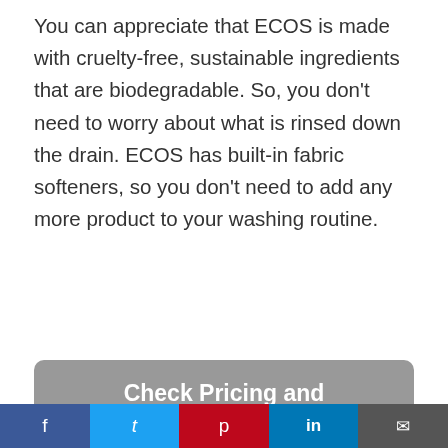You can appreciate that ECOS is made with cruelty-free, sustainable ingredients that are biodegradable. So, you don't need to worry about what is rinsed down the drain. ECOS has built-in fabric softeners, so you don't need to add any more product to your washing routine.
Check Pricing and Availability
PROS:
Plant-Based
Biodegradable
f  t  p  in  ✉